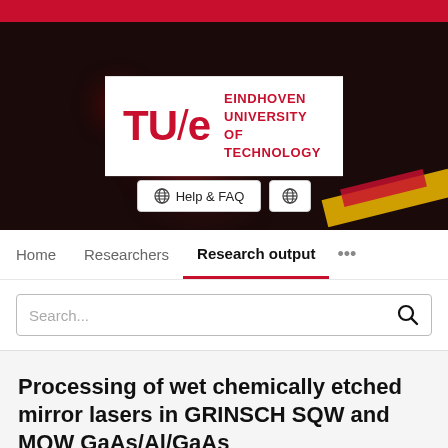[Figure (screenshot): TU/e Eindhoven University of Technology website screenshot with logo, navigation bar showing Home, Researchers, Research output, search box, and a paper title about wet chemically etched mirror lasers]
Processing of wet chemically etched mirror lasers in GRINSCH SQW and MQW GaAs/Al/GaAs